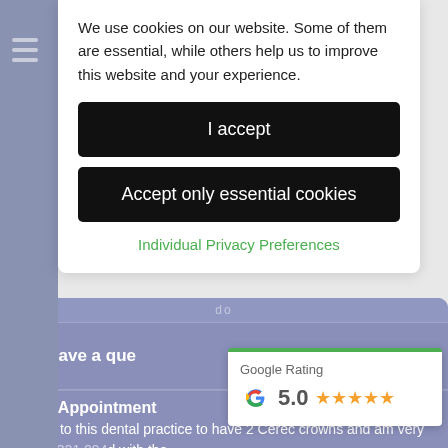We use cookies on our website. Some of them are essential, while others help us to improve this website and your experience.
I accept
Accept only essential cookies
Individual Privacy Preferences
Have a que
Book Appointment
I came to this dental practice to have 2 Cerec crowns and am very pleased with the
[Figure (logo): Google Rating widget showing 5.0 stars with Google G logo and green top border]